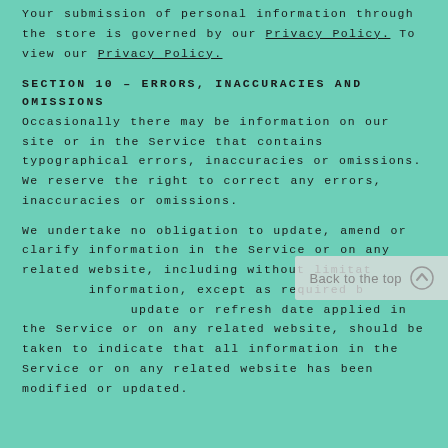Your submission of personal information through the store is governed by our Privacy Policy. To view our Privacy Policy.
SECTION 10 – ERRORS, INACCURACIES AND OMISSIONS
Occasionally there may be information on our site or in the Service that contains typographical errors, inaccuracies or omissions. We reserve the right to correct any errors, inaccuracies or omissions.
We undertake no obligation to update, amend or clarify information in the Service or on any related website, including without limitation information, except as required by law. No specified update or refresh date applied in the Service or on any related website, should be taken to indicate that all information in the Service or on any related website has been modified or updated.